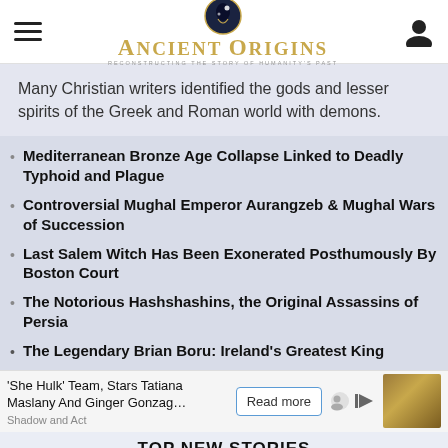Ancient Origins — Reconstructing the Story of Humanity's Past
Many Christian writers identified the gods and lesser spirits of the Greek and Roman world with demons.
Mediterranean Bronze Age Collapse Linked to Deadly Typhoid and Plague
Controversial Mughal Emperor Aurangzeb & Mughal Wars of Succession
Last Salem Witch Has Been Exonerated Posthumously By Boston Court
The Notorious Hashshashins, the Original Assassins of Persia
The Legendary Brian Boru: Ireland's Greatest King
'She Hulk' Team, Stars Tatiana Maslany And Ginger Gonzag… Shadow and Act
TOP NEW STORIES